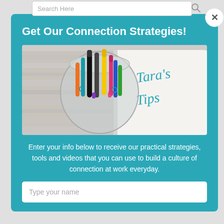Search Here
Get Our Connection Strategies!
[Figure (photo): A jar full of colorful markers/pens on a wooden surface beside a notebook open to a page with 'Tara's Tips' written in cursive teal lettering.]
Enter your info below to receive our practical strategies, tools and videos that you can use to build a culture of connection at work everyday.
Type your name